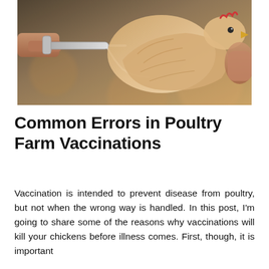[Figure (photo): Close-up photo of hands vaccinating a chicken/poultry bird using a syringe with a tube attached, on a blurred warm-toned background.]
Common Errors in Poultry Farm Vaccinations
Vaccination is intended to prevent disease from poultry, but not when the wrong way is handled. In this post, I'm going to share some of the reasons why vaccinations will kill your chickens before illness comes. First, though, it is important that...